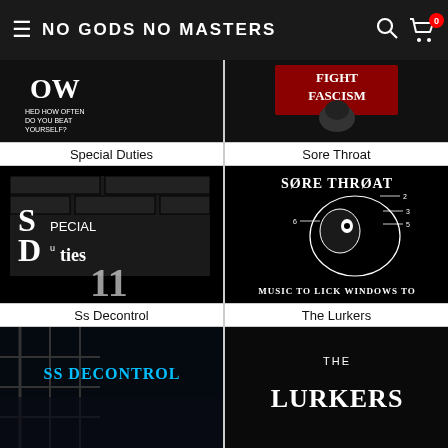NO GODS NO MASTERS
[Figure (photo): Punk band merchandise product image - top left item (partially visible)]
[Figure (photo): Fight Fascism t-shirt product image - top right item]
Special Duties
Sore Throat
[Figure (photo): Special Duties band t-shirt with brick wall graphic]
[Figure (photo): Sore Throat - Music To Lick Windows To album artwork t-shirt]
Ss Decontrol
The Lurkers
[Figure (photo): SS Decontrol band t-shirt product image - partially visible]
[Figure (photo): The Lurkers band t-shirt product image - partially visible]